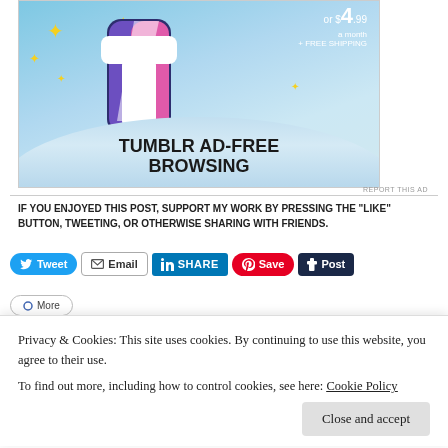[Figure (illustration): Tumblr ad banner showing ad-free browsing promotion with large Tumblr 't' logo, sparkle stars, blue sky background, price text 'or $4.99 a month + FREE SHIPPING', and bold text 'TUMBLR AD-FREE BROWSING']
REPORT THIS AD
IF YOU ENJOYED THIS POST, SUPPORT MY WORK BY PRESSING THE “LIKE” BUTTON, TWEETING, OR OTHERWISE SHARING WITH FRIENDS.
[Figure (screenshot): Social sharing buttons: Tweet, Email, SHARE (LinkedIn), Save (Pinterest), Post (Tumblr)]
Privacy & Cookies: This site uses cookies. By continuing to use this website, you agree to their use.
To find out more, including how to control cookies, see here: Cookie Policy
Close and accept